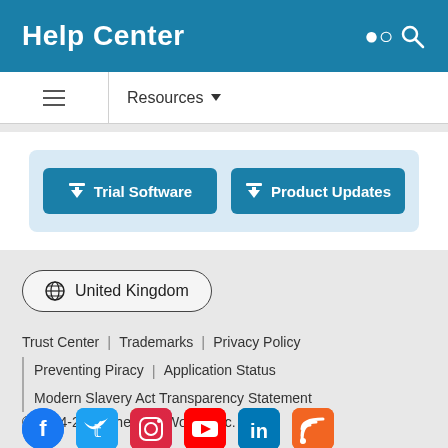Help Center
Resources
[Figure (screenshot): Trial Software and Product Updates download buttons on a light blue background]
United Kingdom
Trust Center | Trademarks | Privacy Policy | Preventing Piracy | Application Status | Modern Slavery Act Transparency Statement
© 1994-2022 The MathWorks, Inc.
[Figure (illustration): Social media icons: Facebook, Twitter, Instagram, YouTube, LinkedIn, RSS]